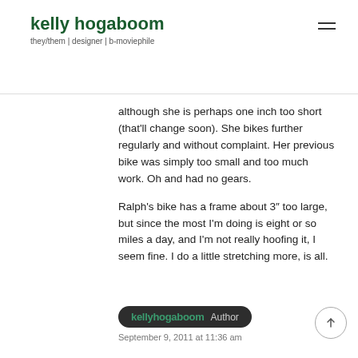kelly hogaboom
they/them | designer | b-moviephile
although she is perhaps one inch too short (that'll change soon). She bikes further regularly and without complaint. Her previous bike was simply too small and too much work. Oh and had no gears.
Ralph's bike has a frame about 3″ too large, but since the most I'm doing is eight or so miles a day, and I'm not really hoofing it, I seem fine. I do a little stretching more, is all.
kellyhogaboom  Author
September 9, 2011 at 11:36 am